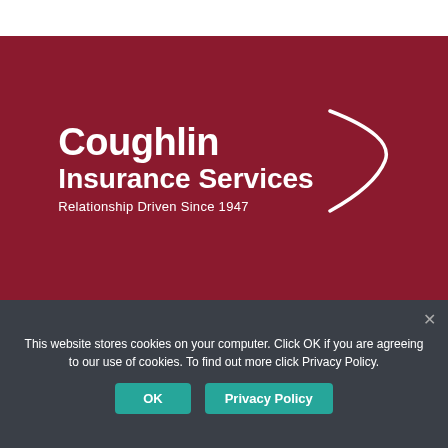[Figure (logo): Coughlin Insurance Services logo with white text on dark red/maroon background, including a swoosh graphic. Text reads: Coughlin Insurance Services, Relationship Driven Since 1947]
Coughlin Insurance Services, Inc.
178 Myrtle Boulevard, Floor 2, Larchmont, NY 10538
Toll Free : (800) 542-0661
Tel: (914) 834-1234 Tel: (212) 593-0200
This website stores cookies on your computer. Click OK if you are agreeing to our use of cookies. To find out more click Privacy Policy.